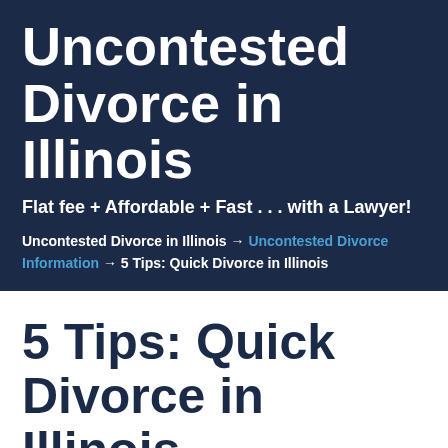Uncontested Divorce in Illinois
Flat fee + Affordable + Fast . . . with a Lawyer!
Uncontested Divorce in Illinois → Uncontested Divorce Information → 5 Tips: Quick Divorce in Illinois
5 Tips: Quick Divorce in Illinois